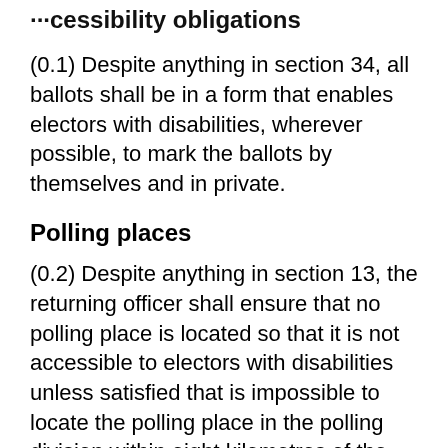Accessibility obligations
(0.1) Despite anything in section 34, all ballots shall be in a form that enables electors with disabilities, wherever possible, to mark the ballots by themselves and in private.
Polling places
(0.2) Despite anything in section 13, the returning officer shall ensure that no polling place is located so that it is not accessible to electors with disabilities unless satisfied that is impossible to locate the polling place in the polling division within eight kilometres of the location that the returning